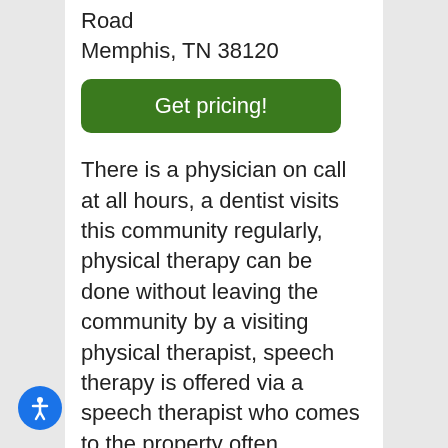Road
Memphis, TN 38120
[Figure (other): Green 'Get pricing!' button]
There is a physician on call at all hours, a dentist visits this community regularly, physical therapy can be done without leaving the community by a visiting physical therapist, speech therapy is offered via a speech therapist who comes to the property often, caregiver staff can deal with any wandering issues memory care residents may have, complimentary transportation is handy for residents, and residents can arrange for a room at this community that will allow them to live
[Figure (other): Blue circular accessibility icon button in bottom left corner]